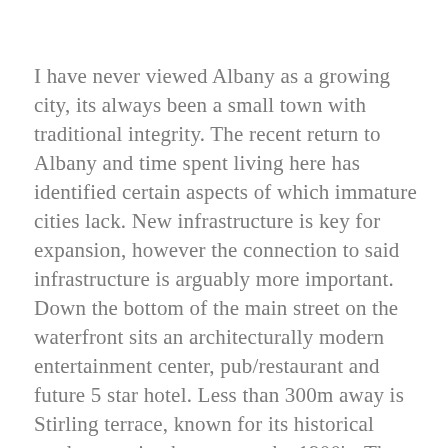I have never viewed Albany as a growing city, its always been a small town with traditional integrity. The recent return to Albany and time spent living here has identified certain aspects of which immature cities lack. New infrastructure is key for expansion, however the connection to said infrastructure is arguably more important. Down the bottom of the main street on the waterfront sits an architecturally modern entertainment center, pub/restaurant and future 5 star hotel. Less than 300m away is Stirling terrace, known for its historical modesty owing homage to the 1900's. These two proposed nightlife and entertainment hubs seem as if they're stuck in an endless battle competing for custody, with the middle-ground being an open steel footbridge spanning over a desolate, drab railway line. Even during a wonderful spring afternoon, this footbridge receives little to no traffic with the exception of the odd